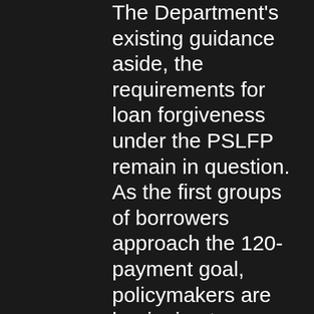The Department's existing guidance aside, the requirements for loan forgiveness under the PSLFP remain in question. As the first groups of borrowers approach the 120-payment goal, policymakers are beginning to grasp the true cost of loan forgiveness, and the Department appears to be refining its position on qualifying employment.
This uncertainty doesn't mean that borrowers should dismiss the PSLFP entirely. At a minimum, students should understand the kind of loan